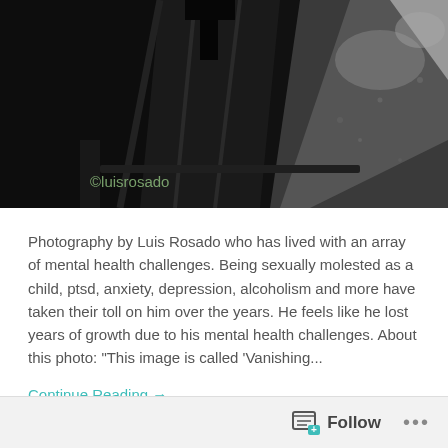[Figure (photo): Black and white photograph of railroad tracks or wet pavement at night, with reflections. Watermark '©luisrosado' in olive/yellow-green text at bottom left.]
Photography by Luis Rosado who has lived with an array of mental health challenges. Being sexually molested as a child, ptsd, anxiety, depression, alcoholism and more have taken their toll on him over the years. He feels like he lost years of growth due to his mental health challenges. About this photo: "This image is called 'Vanishing...
Continue Reading →
Follow ...